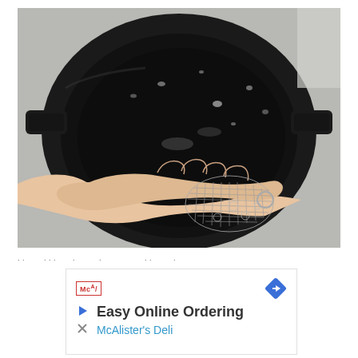[Figure (photo): A hand using a chainmail scrubber to clean a black cast iron skillet under water near a sink]
...
[Figure (infographic): Advertisement box: McAlister's Deli logo, navigation arrow icon, 'Easy Online Ordering' headline, 'McAlister's Deli' subtext in blue]